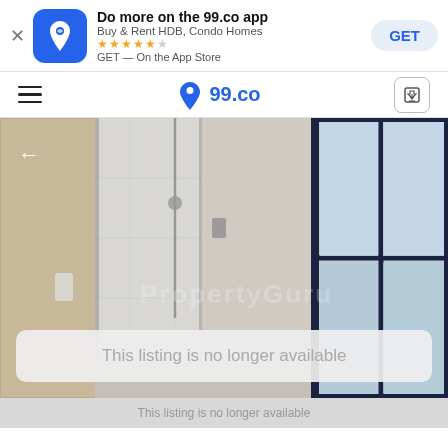Do more on the 99.co app — Buy & Rent HDB, Condo Homes — GET — On the App Store
99.co navigation bar
[Figure (photo): Interior bathroom photo showing a glass-enclosed shower area with marble-style tiles and a window with dark frame. A watermark 'PropertyGuru' is partially visible. An overlay message reads 'This listing is no longer available'.]
This listing is no longer available
This listing is no longer available